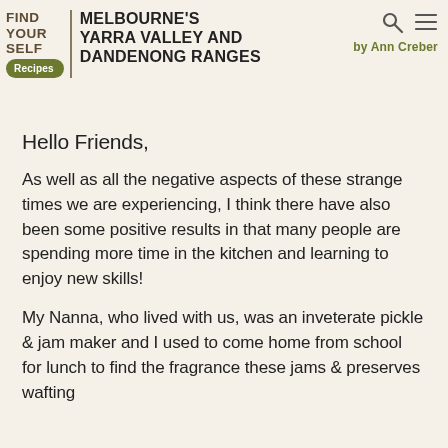FIND YOUR SELF | MELBOURNE'S YARRA VALLEY AND DANDENONG RANGES Recipes by Ann Creber
Hello Friends,
As well as all the negative aspects of these strange times we are experiencing, I think there have also been some positive results in that many people are spending more time in the kitchen and learning to enjoy new skills!
My Nanna, who lived with us, was an inveterate pickle & jam maker and I used to come home from school for lunch to find the fragrance these jams & preserves wafting